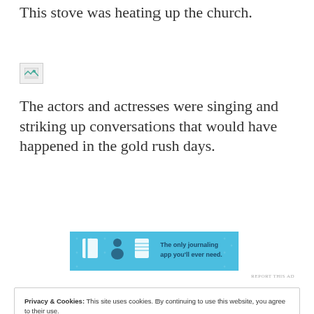This stove was heating up the church.
[Figure (photo): Broken/missing image placeholder icon]
The actors and actresses were singing and striking up conversations that would have happened in the gold rush days.
[Figure (screenshot): Advertisement banner: 'The only journaling app you'll ever need.' with icons of a journal, person, and notebook on blue background]
REPORT THIS AD
Privacy & Cookies: This site uses cookies. By continuing to use this website, you agree to their use.
To find out more, including how to control cookies, see here: Cookie Policy
Close and accept